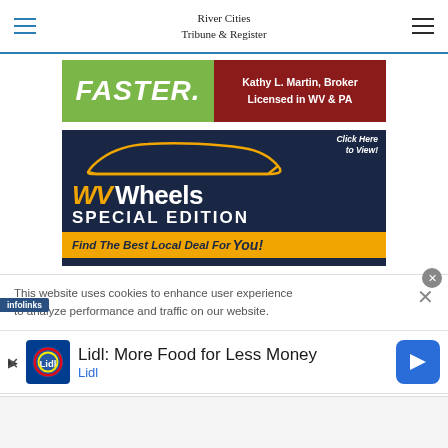River Cities Tribune & Register
[Figure (advertisement): FASTER. Kathy L. Martin, Broker Licensed in WV & PA - real estate advertisement with green and dark red background]
[Figure (advertisement): WV Wheels Special Edition - Find The Best Local Deal For You! Car dealership advertisement with navy blue background, orange WV text, white Wheels and SPECIAL EDITION text, orange bottom bar]
This website uses cookies to enhance user experience to analyze performance and traffic on our website.
[Figure (advertisement): Lidl: More Food for Less Money - Lidl advertisement with Lidl logo and blue arrow navigation button]